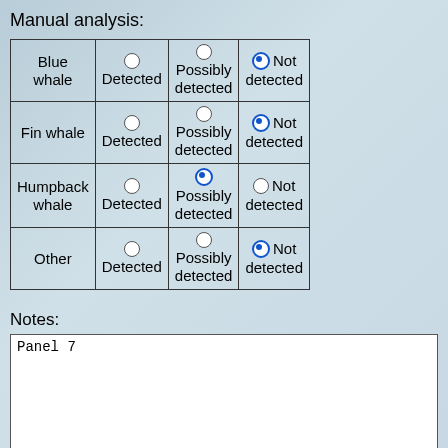Manual analysis:
|  | Detected | Possibly detected | Not detected |
| --- | --- | --- | --- |
| Blue whale | ○ Detected | ○ Possibly detected | ● Not detected |
| Fin whale | ○ Detected | ○ Possibly detected | ● Not detected |
| Humpback whale | ○ Detected | ● Possibly detected | ○ Not detected |
| Other | ○ Detected | ○ Possibly detected | ● Not detected |
Notes:
Panel 7